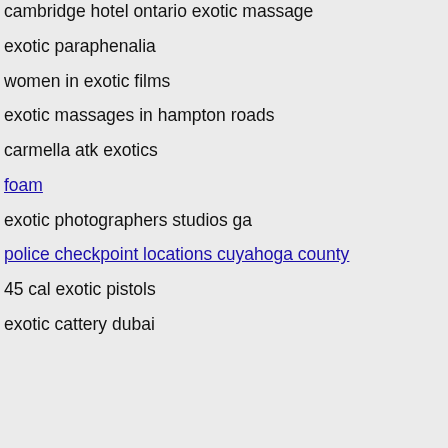cambridge hotel ontario exotic massage
exotic paraphenalia
women in exotic films
exotic massages in hampton roads
carmella atk exotics
foam
exotic photographers studios ga
police checkpoint locations cuyahoga county
45 cal exotic pistols
exotic cattery dubai